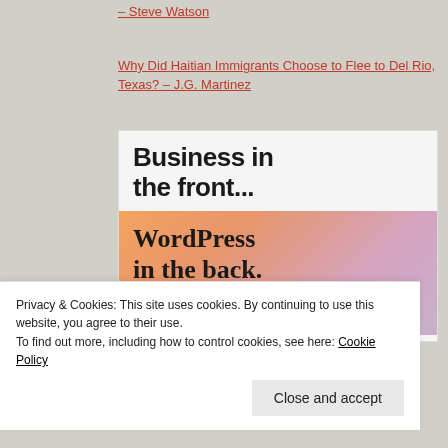– Steve Watson
Why Did Haitian Immigrants Choose to Flee to Del Rio, Texas? – J.G. Martinez
[Figure (screenshot): WordPress advertisement banner showing text 'Business in the front...' on white background and 'WordPress in the back.' on a gradient orange/pink background with WordPress logo at bottom.]
Privacy & Cookies: This site uses cookies. By continuing to use this website, you agree to their use. To find out more, including how to control cookies, see here: Cookie Policy
Close and accept